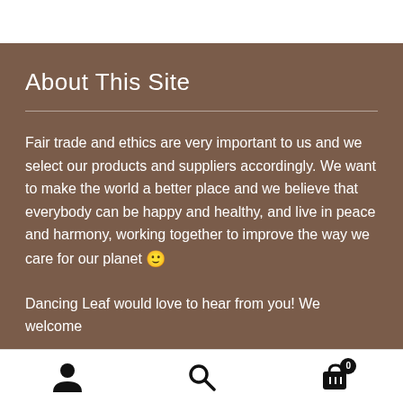About This Site
Fair trade and ethics are very important to us and we select our products and suppliers accordingly. We want to make the world a better place and we believe that everybody can be happy and healthy, and live in peace and harmony, working together to improve the way we care for our planet 🙂
Dancing Leaf would love to hear from you! We welcome feedback, questions…
Navigation icons: account, search, cart (0)